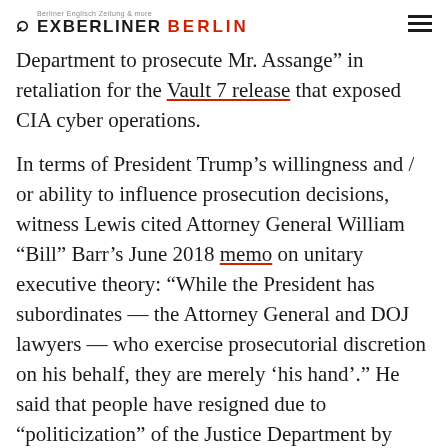EXBERLINER BERLIN
Department to prosecute Mr. Assange" in retaliation for the Vault 7 release that exposed CIA cyber operations.
In terms of President Trump’s willingness and / or ability to influence prosecution decisions, witness Lewis cited Attorney General William “Bill” Barr’s June 2018 memo on unitary executive theory: “While the President has subordinates — the Attorney General and DOJ lawyers — who exercise prosecutorial discretion on his behalf, they are merely ‘his hand’.” He said that people have resigned due to “politicization” of the Justice Department by Barr. ‘The evidence, witnesses, First Amendment, and Espionage Act haven’t changed,’ but the “politically extraneous influence” has changed between the Obama and Trump administrations, Lewis asserted.